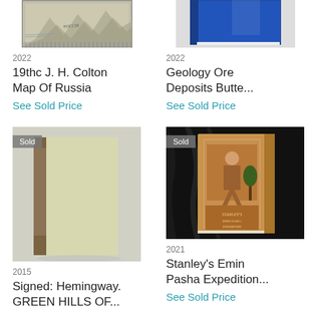[Figure (photo): Partial image of a 19th century map, cropped at top]
[Figure (photo): Partial image of a blue book cover, cropped at top]
2022
2022
19thc J. H. Colton Map Of Russia
Geology Ore Deposits Butte...
See Sold Price
See Sold Price
[Figure (photo): Sold green book - Signed: Hemingway. GREEN HILLS OF...]
[Figure (photo): Sold brown leather book - Stanley's Emin Pasha Expedition]
2015
2021
Signed: Hemingway. GREEN HILLS OF...
Stanley's Emin Pasha Expedition...
See Sold Price
See Sold Price